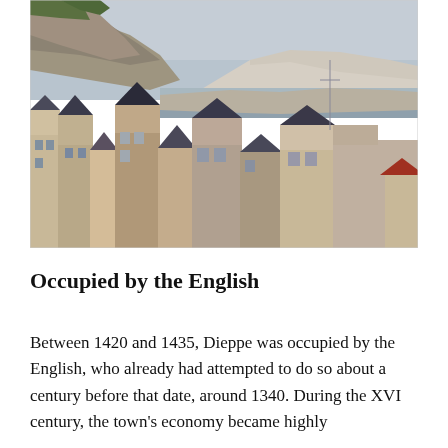[Figure (photo): Aerial view of Dieppe, France, showing rooftops of old town buildings in the foreground and white chalk cliffs along the coastline in the background, with the sea and overcast sky visible.]
Occupied by the English
Between 1420 and 1435, Dieppe was occupied by the English, who already had attempted to do so about a century before that date, around 1340. During the XVI century, the town's economy became highly